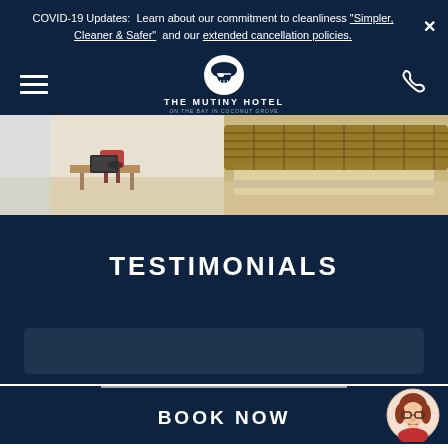COVID-19 Updates:  Learn about our commitment to cleanliness "Simpler, Cleaner & Safer" and our extended cancellation policies.
[Figure (logo): The Mutiny Hotel logo with pirate icon and navigation bar on dark navy background]
[Figure (photo): Hotel interior photo strip showing living area with chairs on left and bed with wicker headboard on right]
TESTIMONIALS
[Figure (other): Testimonial card placeholder area]
BOOK NOW